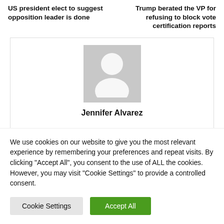US president elect to suggest opposition leader is done
Trump berated the VP for refusing to block vote certification reports
[Figure (photo): Generic user avatar placeholder image - grey silhouette of a person on light grey background]
Jennifer Alvarez
We use cookies on our website to give you the most relevant experience by remembering your preferences and repeat visits. By clicking "Accept All", you consent to the use of ALL the cookies. However, you may visit "Cookie Settings" to provide a controlled consent.